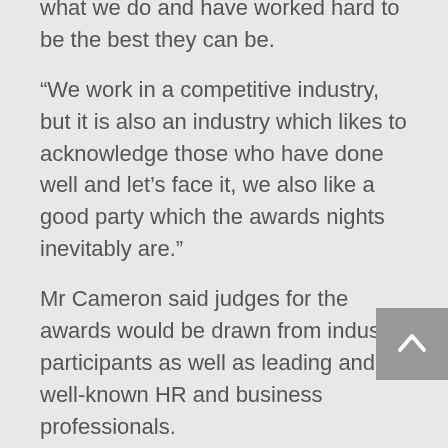what we do and have worked hard to be the best they can be.
“We work in a competitive industry, but it is also an industry which likes to acknowledge those who have done well and let’s face it, we also like a good party which the awards nights inevitably are.”
Mr Cameron said judges for the awards would be drawn from industry participants as well as leading and well-known HR and business professionals.
“Last year we increased the number of professionals from outside of the recruitment and staffing sector to be judges of the awards,” Cameron